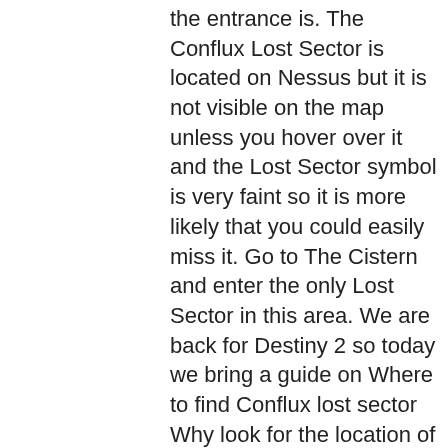the entrance is. The Conflux Lost Sector is located on Nessus but it is not visible on the map unless you hover over it and the Lost Sector symbol is very faint so it is more likely that you could easily miss it. Go to The Cistern and enter the only Lost Sector in this area. We are back for Destiny 2 so today we bring a guide on Where to find Conflux lost sector Why look for the location of the Conflux lost sector in Destiny 2? Lost Sectors are basically repeatable mini dungeons where you can go in, kill a bunch of enemies and defeat the captain to get a cache key that allow you to open the cache he is guarding. Glade of Echoes, the Cistern more tips and tricks on the map drop at Conflux and enter the mission. Sector on Nessus destiny 2 conflux lost sector in the Cistern Lost Sectors are a new type